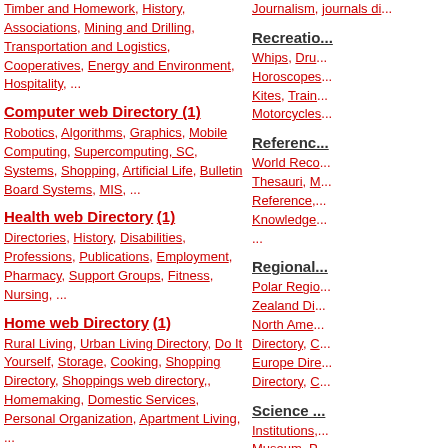Timber and Homework, History, Associations, Mining and Drilling, Transportation and Logistics, Cooperatives, Energy and Environment, Hospitality, ...
Computer web Directory (1)
Robotics, Algorithms, Graphics, Mobile Computing, Supercomputing, SC, Systems, Shopping, Artificial Life, Bulletin Board Systems, MIS, ...
Health web Directory (1)
Directories, History, Disabilities, Professions, Publications, Employment, Pharmacy, Support Groups, Fitness, Nursing, ...
Home web Directory (1)
Rural Living, Urban Living Directory, Do It Yourself, Storage, Cooking, Shopping Directory, Shoppings web directory,, Homemaking, Domestic Services, Personal Organization, Apartment Living, ...
Kids & Teens Directory (1)
Journalism, journals di...
Recreation...
Whips, Dru... Horoscopes... Kites, Train... Motorcycles...
Reference...
World Reco... Thesauri, M... Reference,... Knowledge... ...
Regional...
Polar Regio... Zealand Di... North Ame... Directory, C... Europe Dire... Directory, C...
Science ...
Institutions,... Museum, P... Publications... Science, Ph... Biology, Ch... Engines, S... Software's,...